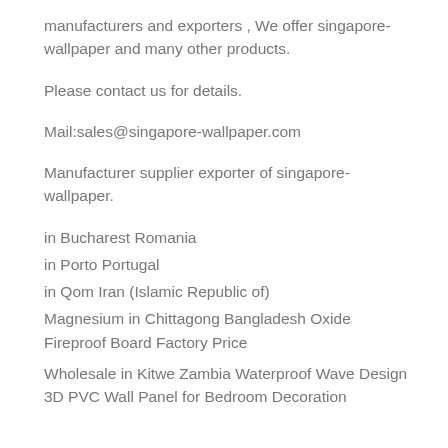manufacturers and exporters , We offer singapore-wallpaper and many other products.
Please contact us for details.
Mail:sales@singapore-wallpaper.com
Manufacturer supplier exporter of singapore-wallpaper.
in Bucharest Romania
in Porto Portugal
in Qom Iran (Islamic Republic of)
Magnesium in Chittagong Bangladesh Oxide Fireproof Board Factory Price
Wholesale in Kitwe Zambia Waterproof Wave Design 3D PVC Wall Panel for Bedroom Decoration